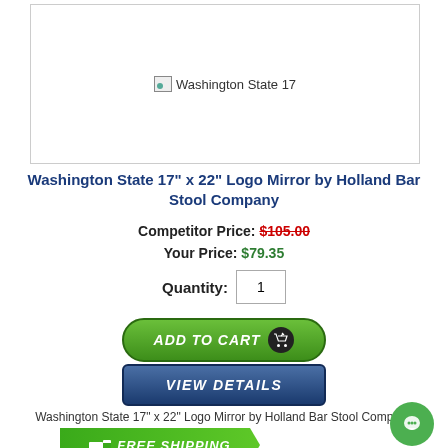[Figure (photo): Product image placeholder for Washington State 17" x 22" Logo Mirror, shown as broken image with alt text]
Washington State 17" x 22" Logo Mirror by Holland Bar Stool Company
Competitor Price: $105.00
Your Price: $79.35
Quantity: 1
ADD TO CART
VIEW DETAILS
Washington State 17" x 22" Logo Mirror by Holland Bar Stool Company
[Figure (infographic): Free Shipping badge - green arrow badge with FREE SHIPPING text]
[Figure (other): Green circular chat bubble icon]